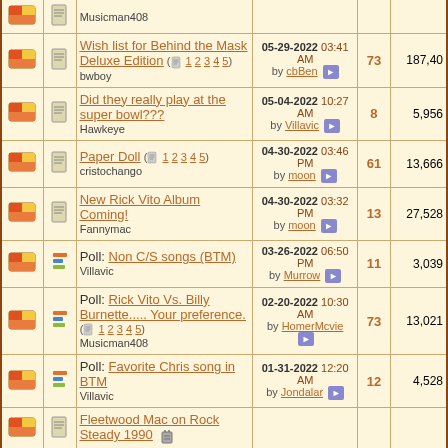|  |  | Topic | Last Post | Replies | Views |
| --- | --- | --- | --- | --- | --- |
| [icon] | [doc] | Musicman408 |  |  |  |
| [icon] | [doc] | Wish list for Behind the Mask Deluxe Edition (1 2 3 4 5)
bwboy | 05-29-2022 03:41 AM by cbBen | 73 | 187,40 |
| [icon] | [doc] | Did they really play at the super bowl???
Hawkeye | 05-04-2022 10:27 AM by Villavic | 8 | 5,956 |
| [icon] | [doc] | Paper Doll (1 2 3 4 5)
cristochango | 04-30-2022 03:46 PM by moon | 61 | 13,666 |
| [icon] | [doc] | New Rick Vito Album Coming!
Fannymac | 04-30-2022 03:32 PM by moon | 13 | 27,528 |
| [icon] | [poll] | Poll: Non C/S songs (BTM)
Villavic | 03-26-2022 06:50 PM by Murrow | 11 | 3,039 |
| [icon] | [poll] | Poll: Rick Vito Vs. Billy Burnette..... Your preference. (1 2 3 4 5)
Musicman408 | 02-20-2022 10:30 AM by HomerMcvie | 73 | 13,021 |
| [icon] | [poll] | Poll: Favorite Chris song in BTM
Villavic | 01-31-2022 12:20 AM by Jondalar | 12 | 4,528 |
| [icon] | [doc] | Fleetwood Mac on Rock Steady 1990 |  |  |  |